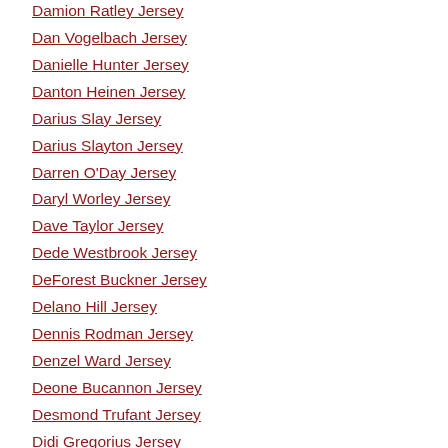Damion Ratley Jersey
Dan Vogelbach Jersey
Danielle Hunter Jersey
Danton Heinen Jersey
Darius Slay Jersey
Darius Slayton Jersey
Darren O'Day Jersey
Daryl Worley Jersey
Dave Taylor Jersey
Dede Westbrook Jersey
DeForest Buckner Jersey
Delano Hill Jersey
Dennis Rodman Jersey
Denzel Ward Jersey
Deone Bucannon Jersey
Desmond Trufant Jersey
Didi Gregorius Jersey
Dion Jordan Jersey
Dominik Hasek Jersey
Donte Moncrief Jersey
Doug Williams Jersey